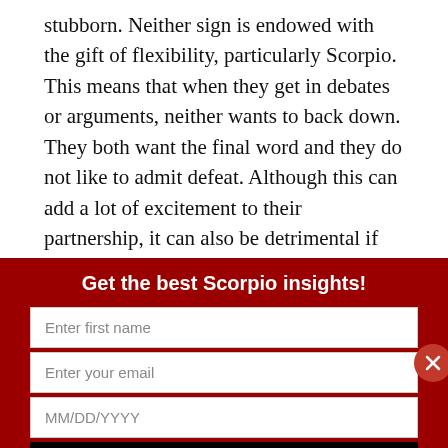stubborn. Neither sign is endowed with the gift of flexibility, particularly Scorpio. This means that when they get in debates or arguments, neither wants to back down. They both want the final word and they do not like to admit defeat. Although this can add a lot of excitement to their partnership, it can also be detrimental if they take things too far and become overly pushy with each other. Both Aquarius and Scorpio have big egos
Get the best Scorpio insights!
Enter first name
Enter your email
MM/DD/YYYY
Subscribe